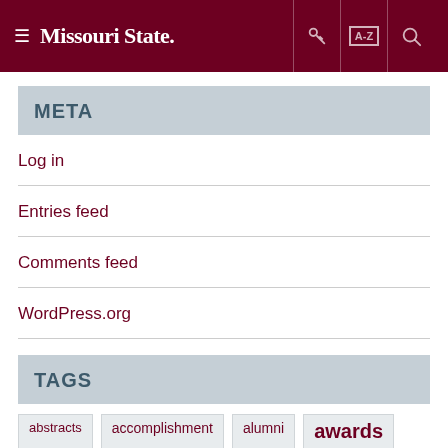Missouri State — navigation header with hamburger menu, key icon, A-Z index, and search
META
Log in
Entries feed
Comments feed
WordPress.org
TAGS
abstracts  accomplishment  alumni  awards